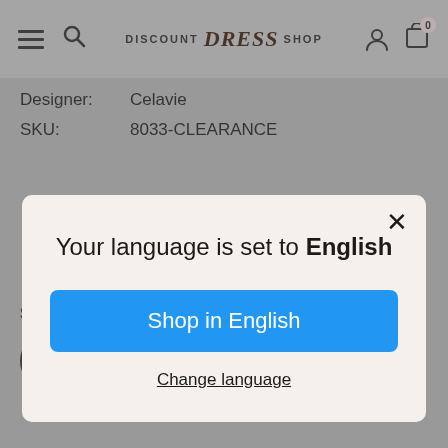DISCOUNT Dress SHOP — navigation bar with hamburger menu, search icon, logo, user icon, cart (0)
Designer: Celavie
SKU: 8033-CLEARANCE
[Figure (screenshot): Language selection modal dialog with title 'Your language is set to English', a blue 'Shop in English' button, and a 'Change language' text link. A close (×) button is in the top right corner.]
Size : S
[Figure (other): Circle button showing 'S' for size selection]